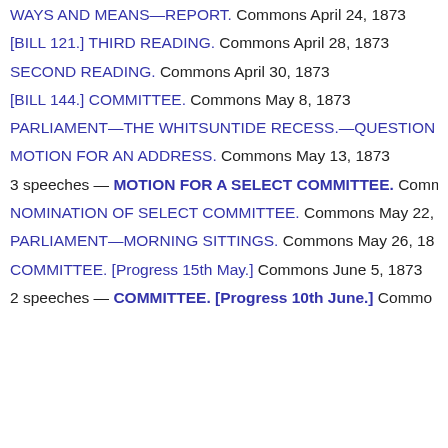WAYS AND MEANS—REPORT. Commons April 24, 1873
[BILL 121.] THIRD READING. Commons April 28, 1873
SECOND READING. Commons April 30, 1873
[BILL 144.] COMMITTEE. Commons May 8, 1873
PARLIAMENT—THE WHITSUNTIDE RECESS.—QUESTION
MOTION FOR AN ADDRESS. Commons May 13, 1873
3 speeches — MOTION FOR A SELECT COMMITTEE. Comm
NOMINATION OF SELECT COMMITTEE. Commons May 22,
PARLIAMENT—MORNING SITTINGS. Commons May 26, 18
COMMITTEE. [Progress 15th May.] Commons June 5, 1873
2 speeches — COMMITTEE. [Progress 10th June.] Commo